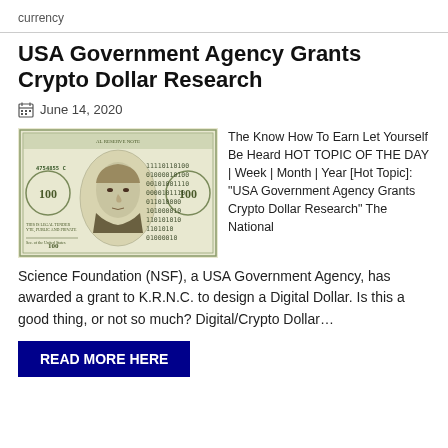currency
USA Government Agency Grants Crypto Dollar Research
June 14, 2020
[Figure (photo): A $100 US dollar bill overlaid with binary code (0s and 1s) suggesting digital/crypto currency concept.]
The Know How To Earn Let Yourself Be Heard HOT TOPIC OF THE DAY | Week | Month | Year [Hot Topic]: “USA Government Agency Grants Crypto Dollar Research” The National
Science Foundation (NSF), a USA Government Agency, has awarded a grant to K.R.N.C. to design a Digital Dollar. Is this a good thing, or not so much? Digital/Crypto Dollar…
READ MORE HERE